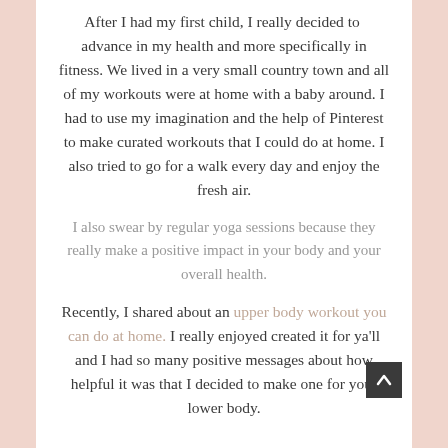After I had my first child, I really decided to advance in my health and more specifically in fitness. We lived in a very small country town and all of my workouts were at home with a baby around. I had to use my imagination and the help of Pinterest to make curated workouts that I could do at home. I also tried to go for a walk every day and enjoy the fresh air.
I also swear by regular yoga sessions because they really make a positive impact in your body and your overall health.
Recently, I shared about an upper body workout you can do at home. I really enjoyed created it for ya'll and I had so many positive messages about how helpful it was that I decided to make one for your lower body.